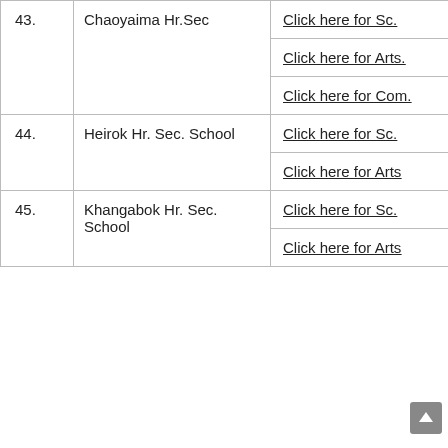| No. | School Name | Links |
| --- | --- | --- |
| 43. | Chaoyaima Hr.Sec | Click here for Sc. | Click here for Arts. | Click here for Com. |
| 44. | Heirok Hr. Sec. School | Click here for Sc. | Click here for Arts |
| 45. | Khangabok Hr. Sec. School | Click here for Sc. | Click here for Arts |